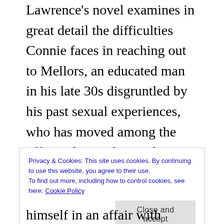Lawrence's novel examines in great detail the difficulties Connie faces in reaching out to Mellors, an educated man in his late 30s disgruntled by his past sexual experiences, who has moved among the officer classes during the War but deliberately chooses to speak the Derbyshire dialect and take up an isolated working-class life. Mercurio passes over Mellors' estrangement from his wife in a flash and class is dealt with in very 21st century terms:
Privacy & Cookies: This site uses cookies. By continuing to use this website, you agree to their use.
To find out more, including how to control cookies, see here: Cookie Policy
himself in an affair with Connie, and he uses his